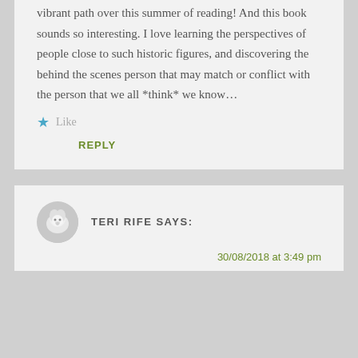vibrant path over this summer of reading! And this book sounds so interesting. I love learning the perspectives of people close to such historic figures, and discovering the behind the scenes person that may match or conflict with the person that we all *think* we know…
★ Like
REPLY
TERI RIFE SAYS:
30/08/2018 at 3:49 pm